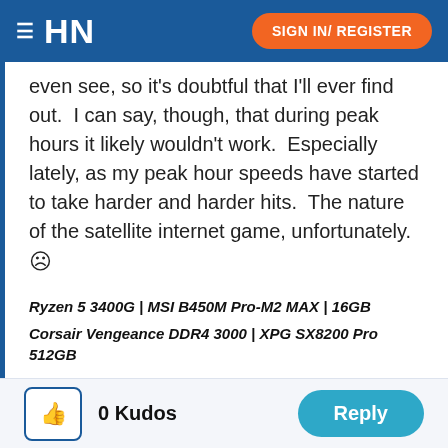HN | SIGN IN/ REGISTER
even see, so it's doubtful that I'll ever find out.  I can say, though, that during peak hours it likely wouldn't work.  Especially lately, as my peak hour speeds have started to take harder and harder hits.  The nature of the satellite internet game, unfortunately.  ☹
Ryzen 5 3400G | MSI B450M Pro-M2 MAX | 16GB
Corsair Vengeance DDR4 3000 | XPG SX8200 Pro 512GB
0 Kudos | Reply